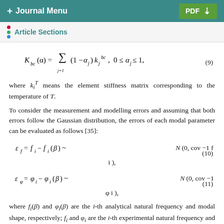+ Journal Menu   PDF ↓
Article Sections
where k_i^T means the element stiffness matrix corresponding to the temperature of T.
To consider the measurement and modelling errors and assuming that both errors follow the Gaussian distribution, the errors of each modal parameter can be evaluated as follows [35]:
where f_i(β) and φ_i(β) are the i-th analytical natural frequency and modal shape, respectively; f_i and φ_i are the i-th experimental natural frequency and modal shape; β means the concerned variable, and it can be defined as β = [θ, α] to detect the damage of structural elements and bearings, or to be set as a